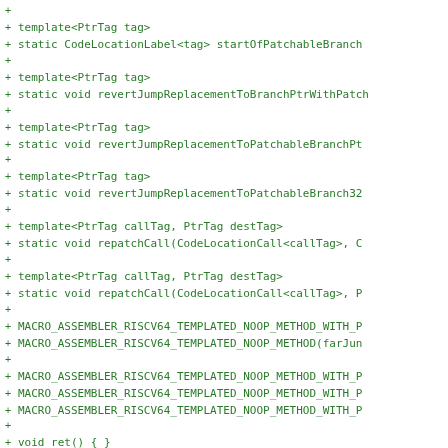+ template<PtrTag tag>
+ static CodeLocationLabel<tag> startOfPatchableBranch
+
+ template<PtrTag tag>
+ static void revertJumpReplacementToBranchPtrWithPatch
+
+ template<PtrTag tag>
+ static void revertJumpReplacementToPatchableBranchPt
+
+ template<PtrTag tag>
+ static void revertJumpReplacementToPatchableBranch32
+
+ template<PtrTag callTag, PtrTag destTag>
+ static void repatchCall(CodeLocationCall<callTag>, C
+
+ template<PtrTag callTag, PtrTag destTag>
+ static void repatchCall(CodeLocationCall<callTag>, P
+
+ MACRO_ASSEMBLER_RISCV64_TEMPLATED_NOOP_METHOD_WITH_P
+ MACRO_ASSEMBLER_RISCV64_TEMPLATED_NOOP_METHOD(farJun
+
+ MACRO_ASSEMBLER_RISCV64_TEMPLATED_NOOP_METHOD_WITH_P
+ MACRO_ASSEMBLER_RISCV64_TEMPLATED_NOOP_METHOD_WITH_P
+ MACRO_ASSEMBLER_RISCV64_TEMPLATED_NOOP_METHOD_WITH_P
+
+ void ret() { }
+
+ MACRO_ASSEMBLER_RISCV64_TEMPLATED_NOOP_METHOD(test8
+ MACRO_ASSEMBLER_RISCV64_TEMPLATED_NOOP_METHOD(test32
+ MACRO_ASSEMBLER_RISCV64_TEMPLATED_NOOP_METHOD(test